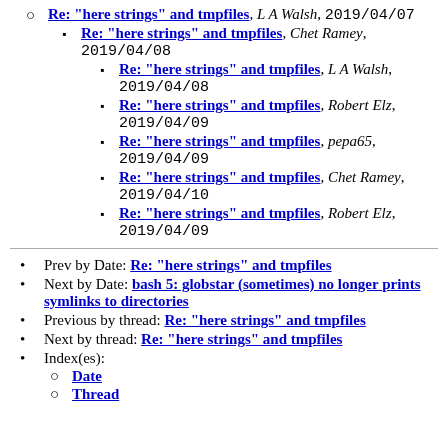Re: "here strings" and tmpfiles, L A Walsh, 2019/04/07
Re: "here strings" and tmpfiles, Chet Ramey, 2019/04/08
Re: "here strings" and tmpfiles, L A Walsh, 2019/04/08
Re: "here strings" and tmpfiles, Robert Elz, 2019/04/09
Re: "here strings" and tmpfiles, pepa65, 2019/04/09
Re: "here strings" and tmpfiles, Chet Ramey, 2019/04/10
Re: "here strings" and tmpfiles, Robert Elz, 2019/04/09
Prev by Date: Re: "here strings" and tmpfiles
Next by Date: bash 5: globstar (sometimes) no longer prints symlinks to directories
Previous by thread: Re: "here strings" and tmpfiles
Next by thread: Re: "here strings" and tmpfiles
Index(es):
Date
Thread